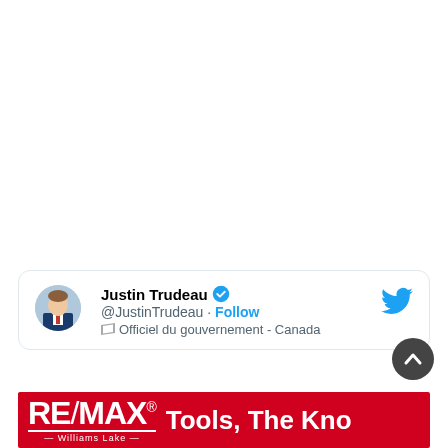[Figure (screenshot): Screenshot of a Twitter/X post by Justin Trudeau (@JustinTrudeau) with verified badge and government label 'Officiel du gouvernement - Canada'. Tweet text begins: 'Thank you, Canada, for putting your trust in our team and for having faith in us to move'. A circular scroll-up button is partially visible. A RE/MAX Williams Lake banner appears at the bottom with text 'Tools, The Kno' (partially cut off).]